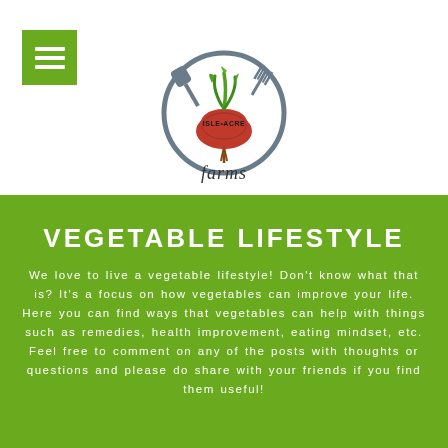[Figure (logo): Isle of Acre Farms logo: a red beet/radish with green leaves on top, surrounded by a circular icon with fork and shovel, and 'Isle Acre farms' text in stylized lettering]
VEGETABLE LIFESTYLE
We love to live a vegetable lifestyle! Don't know what that is? It's a focus on how vegetables can improve your life. Here you can find ways that vegetables can help with things such as remedies, health improvement, eating mindset, etc. Feel free to comment on any of the posts with thoughts or questions and please do share with your friends if you find them useful!